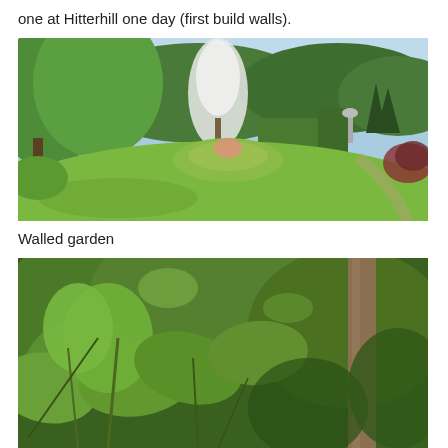one at Hitterhill one day (first build walls).
[Figure (photo): A lush walled garden with green lawns, flowering plants, hedges, trees, and a clear blue sky in the background.]
Walled garden
[Figure (photo): Close-up view of dense green foliage, large tropical-looking leaves and plant stems, with a tree trunk visible on the right.]